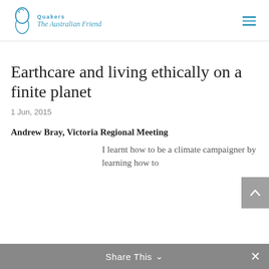Quakers The Australian Friend
Earthcare and living ethically on a finite planet
1 Jun, 2015
Andrew Bray, Victoria Regional Meeting
I learnt how to be a climate campaigner by learning how to
Share This